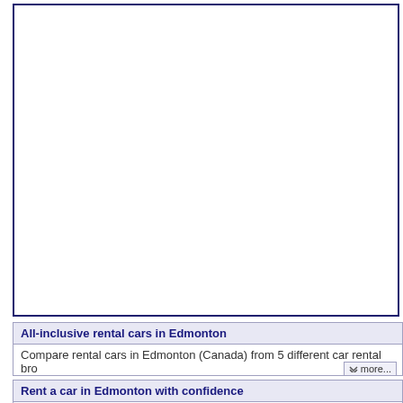[Figure (other): Large white empty box with dark navy border, representing a content/image area]
All-inclusive rental cars in Edmonton
Compare rental cars in Edmonton (Canada) from 5 different car rental bro
Rent a car in Edmonton with confidence
Make a well-informed choice, avoid pitfalls and rent a car hassle-free.